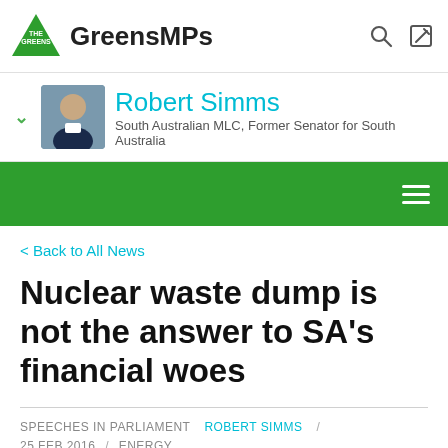GreensMPs
Robert Simms
South Australian MLC, Former Senator for South Australia
< Back to All News
Nuclear waste dump is not the answer to SA's financial woes
SPEECHES IN PARLIAMENT   ROBERT SIMMS /
25 FEB 2016  /  ENERGY
SHARE